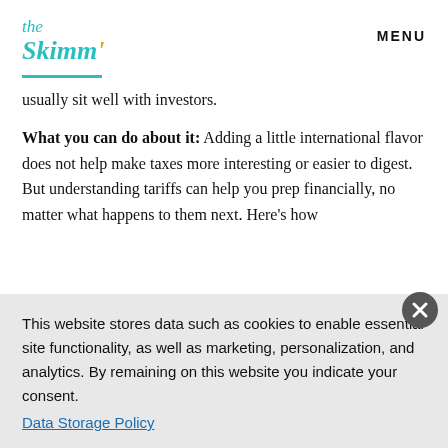the Skimm' | MENU
usually sit well with investors.
What you can do about it: Adding a little international flavor does not help make taxes more interesting or easier to digest. But understanding tariffs can help you prep financially, no matter what happens to them next. Here's how
This website stores data such as cookies to enable essential site functionality, as well as marketing, personalization, and analytics. By remaining on this website you indicate your consent. Data Storage Policy